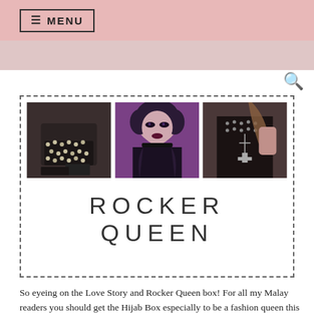≡ MENU
[Figure (photo): Featured fashion collage with three photos: studded platform boots, gothic-style female model with purple makeup, and leather jacket with studs and cross necklace. Below the photos, large thin-font text reads ROCKER QUEEN.]
So eyeing on the Love Story and Rocker Queen box! For all my Malay readers you should get the Hijab Box especially to be a fashion queen this coming Raya!! For more details, check out their webpage at http://fashionculturebox.com/ and their Facebook page.